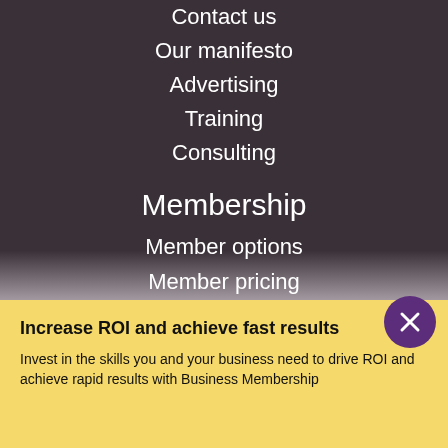Contact us
Our manifesto
Advertising
Training
Consulting
Membership
Member options
Member pricing
Member resources
Support and FAQ
Premium membership
Business membership
Resources
Free resources
Increase ROI and achieve fast results
Invest in the skills you and your business need to drive ROI and achieve rapid results with Business Membership